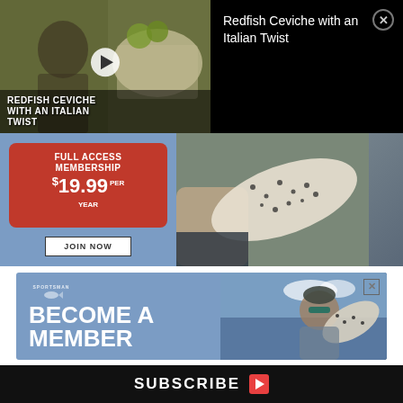[Figure (screenshot): Video thumbnail showing a man preparing Redfish Ceviche with an Italian Twist, with play button overlay]
Redfish Ceviche with an Italian Twist
[Figure (infographic): Full Access Membership $19.99 per year - JOIN NOW advertisement on blue background with photo of spotted fish]
[Figure (infographic): Become a Member advertisement on blue background with photo of man holding spotted fish]
PHOTO CONTEST | POST YOUR PHOTO!
SUBSCRIBE